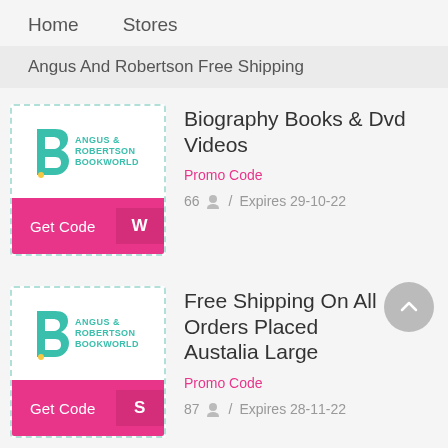Home    Stores
Angus And Robertson Free Shipping
[Figure (logo): Angus & Robertson Bookworld logo with teal B icon]
Biography Books & Dvd Videos
Promo Code
66 / Expires 29-10-22
[Figure (logo): Angus & Robertson Bookworld logo with teal B icon]
Free Shipping On All Orders Placed Austalia Large
Promo Code
87 / Expires 28-11-22